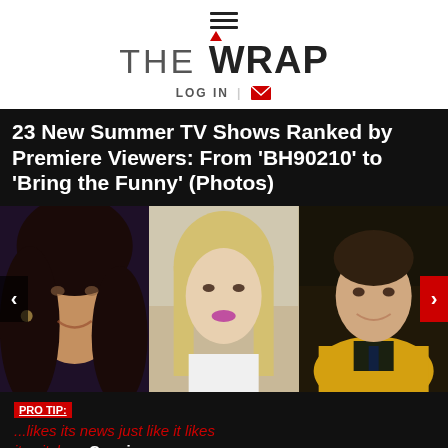≡
[Figure (logo): THE WRAP logo with red accent mark above the W]
LOG IN ✉
23 New Summer TV Shows Ranked by Premiere Viewers: From 'BH90210' to 'Bring the Funny' (Photos)
[Figure (photo): Photo slideshow showing three celebrities: a dark-haired smiling woman (left), a blonde woman (center), and a man in a yellow jacket (right), with navigation arrows on each side]
PRO TIP: ...likes its news just like it likes its pitches. Concise.